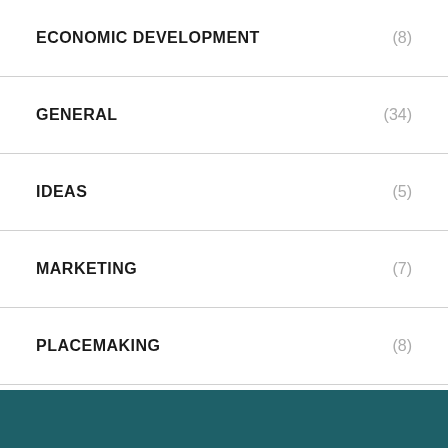ECONOMIC DEVELOPMENT (8)
GENERAL (34)
IDEAS (5)
MARKETING (7)
PLACEMAKING (8)
PODCAST (1)
REAL ESTATE DEVELOPMENT (6)
SMALL BUSINESS (4)
STORY TIME (2)